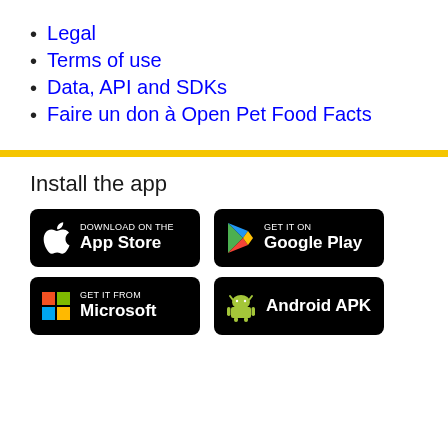Legal
Terms of use
Data, API and SDKs
Faire un don à Open Pet Food Facts
Install the app
[Figure (other): Download on the App Store badge]
[Figure (other): Get it on Google Play badge]
[Figure (other): Get it from Microsoft badge]
[Figure (other): Android APK badge]